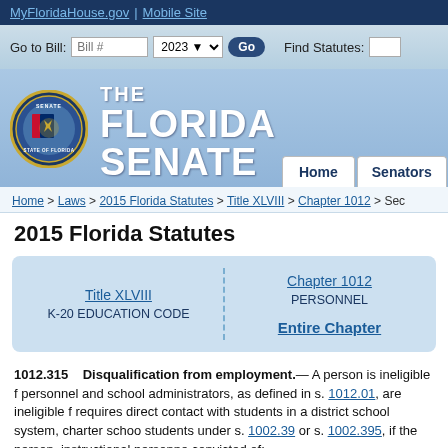MyFloridaHouse.gov | Mobile Site
THE FLORIDA SENATE
Home > Laws > 2015 Florida Statutes > Title XLVIII > Chapter 1012 > Sec
2015 Florida Statutes
| Title XLVIII
K-20 EDUCATION CODE | Chapter 1012
PERSONNEL

Entire Chapter |
1012.315    Disqualification from employment.— A person is ineligible for personnel and school administrators, as defined in s. 1012.01, are ineligible f requires direct contact with students in a district school system, charter schoo students under s. 1002.39 or s. 1002.395, if the person, instructional personnel convicted of: